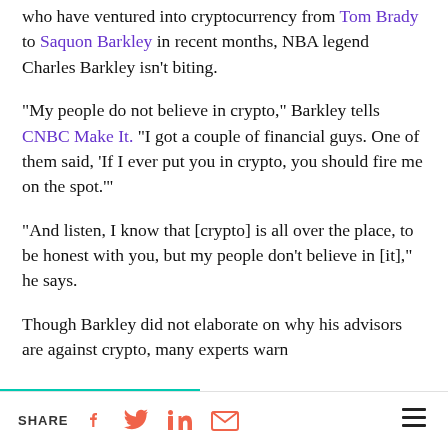who have ventured into cryptocurrency from Tom Brady to Saquon Barkley in recent months, NBA legend Charles Barkley isn't biting.
"My people do not believe in crypto," Barkley tells CNBC Make It. "I got a couple of financial guys. One of them said, 'If I ever put you in crypto, you should fire me on the spot.'"
"And listen, I know that [crypto] is all over the place, to be honest with you, but my people don't believe in [it]," he says.
Though Barkley did not elaborate on why his advisors are against crypto, many experts warn
SHARE